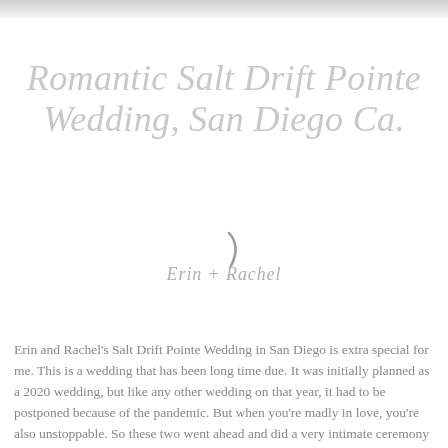[Figure (photo): Faded photo strip at the top of the page showing an outdoor wedding or landscape scene, very light and washed out]
Romantic Salt Drift Pointe Wedding, San Diego Ca.
Erin + Rachel
Erin and Rachel's Salt Drift Pointe Wedding in San Diego is extra special for me. This is a wedding that has been long time due. It was initially planned as a 2020 wedding, but like any other wedding on that year, it had to be postponed because of the pandemic. But when you're madly in love, you're also unstoppable. So these two went ahead and did a very intimate ceremony at the Golden Hill park in front of some very few friends backpropped by the park's golden sunset. Obviously, nothing...